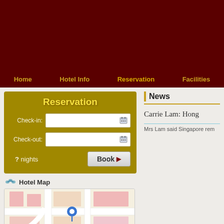[Figure (screenshot): Dark red hotel website header background]
Home   Hotel Info   Reservation   Facilities
Reservation
Check-in: [input field with calendar icon]
Check-out: [input field with calendar icon]
? nights   Book
Hotel Map
[Figure (map): Hotel map showing street map with pink buildings and a blue location marker]
News
Carrie Lam: Hong
Mrs Lam said Singapore rem